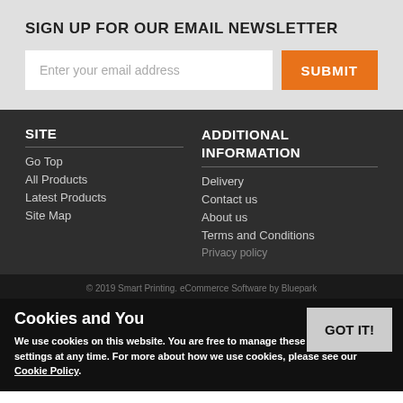SIGN UP FOR OUR EMAIL NEWSLETTER
Enter your email address
SUBMIT
SITE
Go Top
All Products
Latest Products
Site Map
ADDITIONAL INFORMATION
Delivery
Contact us
About us
Terms and Conditions
Privacy policy
© 2019 Smart Printing. eCommerce Software by Bluepark
Cookies and You
We use cookies on this website. You are free to manage these via your browser settings at any time. For more about how we use cookies, please see our Cookie Policy.
GOT IT!